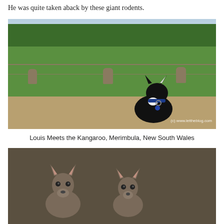He was quite taken aback by these giant rodents.
[Figure (photo): A black dog on a dirt path looking across a green grassy field with kangaroos in the distance. Trees visible in the background. Watermark reads '(c) www.lettheblog.com']
Louis Meets the Kangaroo, Merimbula, New South Wales
[Figure (photo): Close-up photo of two kangaroos looking at the camera against a dark earthy background.]